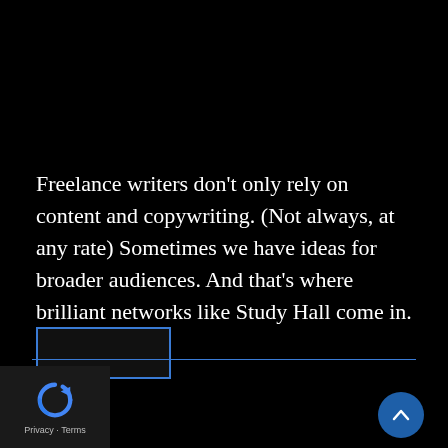Freelance writers don't only rely on content and copywriting. (Not always, at any rate) Sometimes we have ideas for broader audiences. And that's where brilliant networks like Study Hall come in. …
[Figure (other): Blue-outlined rectangle (button placeholder) on black background]
[Figure (other): Horizontal blue divider line]
[Figure (logo): reCAPTCHA logo (blue circular arrows) in dark box at bottom left, with Privacy - Terms text]
[Figure (other): Dark teal circular scroll-to-top button with upward chevron at bottom right]